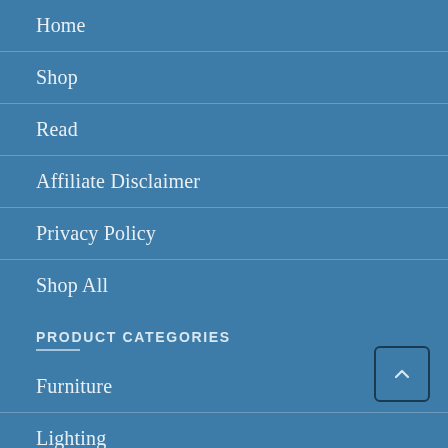Home
Shop
Read
Affiliate Disclaimer
Privacy Policy
Shop All
PRODUCT CATEGORIES
Furniture
Lighting
Outdoor
Decor